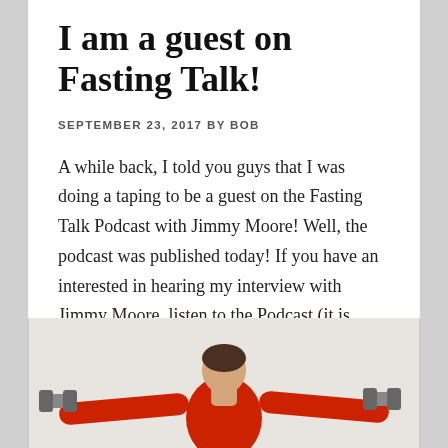I am a guest on Fasting Talk!
SEPTEMBER 23, 2017 BY BOB
A while back, I told you guys that I was doing a taping to be a guest on the Fasting Talk Podcast with Jimmy Moore! Well, the podcast was published today! If you have an interested in hearing my interview with Jimmy Moore, listen to the Podcast (it is free). You can go and listen [...]
[Figure (photo): Person in red shirt with arms outstretched holding dumbbells, photographed from behind/side against light background]